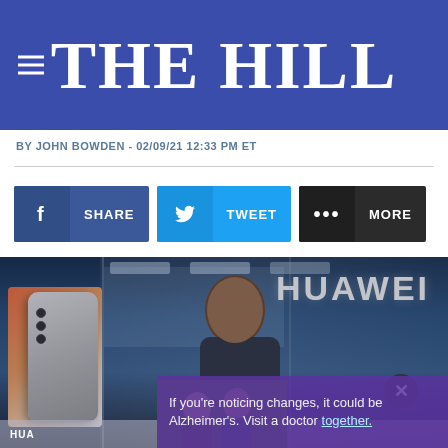THE HILL
BY JOHN BOWDEN - 02/09/21 12:33 PM ET
[Figure (other): Social sharing buttons: Facebook Share, Twitter Tweet, More]
[Figure (photo): Photo of a Huawei store exterior with large illuminated HUAWEI sign, person walking in foreground, with phone advertisement display and Huawei logo visible. A popup ad overlay at the bottom shows two people with text about Alzheimer's.]